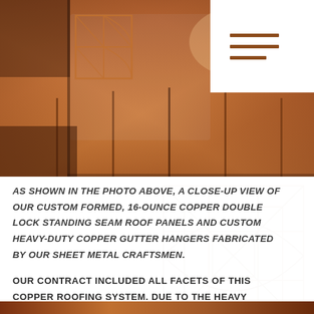[Figure (photo): Close-up photograph of custom formed copper double lock standing seam roof panels and custom heavy-duty copper gutter hangers, showing shiny copper metalwork with a roofing/flashing detail. Company logo (geometric R/B monogram in copper lines) overlaid at top center. Menu icon (three horizontal lines) in white box at top right.]
AS SHOWN IN THE PHOTO ABOVE, A CLOSE-UP VIEW OF OUR CUSTOM FORMED, 16-OUNCE COPPER DOUBLE LOCK STANDING SEAM ROOF PANELS AND CUSTOM HEAVY-DUTY COPPER GUTTER HANGERS FABRICATED BY OUR SHEET METAL CRAFTSMEN.
OUR CONTRACT INCLUDED ALL FACETS OF THIS COPPER ROOFING SYSTEM. DUE TO THE HEAVY DAMAGE, WE WOULD COMPLETELY